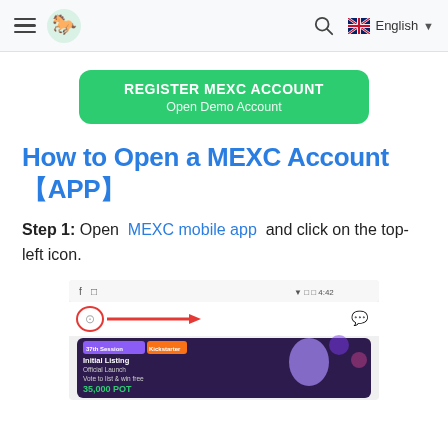MEXC — hamburger menu, logo, search, English language selector
[Figure (other): Green rounded button with text REGISTER MEXC ACCOUNT and Open Demo Account]
How to Open a MEXC Account【APP】
Step 1: Open MEXC mobile app and click on the top-left icon.
[Figure (screenshot): Mobile app screenshot showing the MEXC app with a red arrow pointing to a settings/account icon in the top-left corner, and a banner for '37th Session Kickstarter Initial Listing Official Launch Vote to list & win free 35,000 POT']